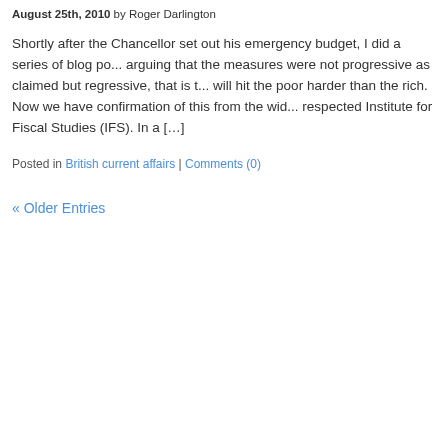August 25th, 2010 by Roger Darlington
Shortly after the Chancellor set out his emergency budget, I did a series of blog po... arguing that the measures were not progressive as claimed but regressive, that is t... will hit the poor harder than the rich. Now we have confirmation of this from the wid... respected Institute for Fiscal Studies (IFS). In a [...]
Posted in British current affairs | Comments (0)
« Older Entries